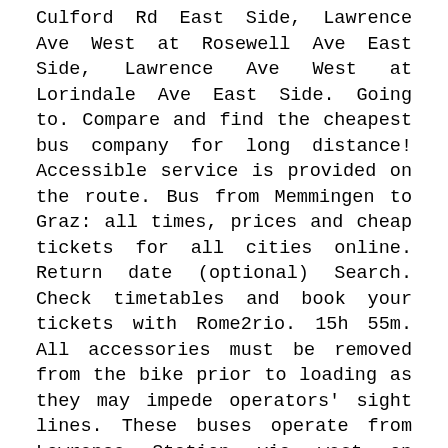Culford Rd East Side, Lawrence Ave West at Rosewell Ave East Side, Lawrence Ave West at Lorindale Ave East Side. Going to. Compare and find the cheapest bus company for long distance! Accessible service is provided on the route. Bus from Memmingen to Graz: all times, prices and cheap tickets for all cities online. Return date (optional) Search. Check timetables and book your tickets with Rome2rio. 15h 55m. All accessories must be removed from the bike prior to loading as they may impede operators' sight lines. These buses operate from Lawrence Station via west on Lawrence Avenue West, through Lawrence West Station, continuing west on Lawrence Avenue West, north on Scarlett Road, west on Dixon Road, west and north on Airport Road, north on Churchill Avenue, and west and south on Victory Cresent to Airport Road. All buses on the route serve local bus stops along the route. Accessible routes: The TTC provides accessible service on many routes. To. There are 4 ways to get from Graz Hauptbahnhof to 10 Leberstraße by bus, taxi or car. Bus par jour. Booking bus tickets to Frankfurt am Main from